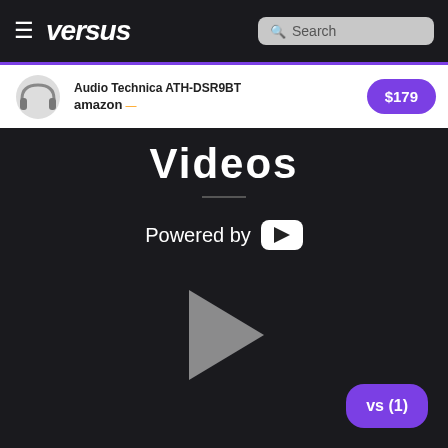versus — Search
Audio Technica ATH-DSR9BT — amazon — $179
Videos
Powered by YouTube
[Figure (other): Video player placeholder with large play button triangle on dark background]
vs (1)